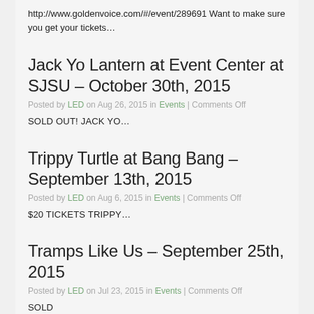http://www.goldenvoice.com/#/event/289691 Want to make sure you get your tickets…
Jack Yo Lantern at Event Center at SJSU – October 30th, 2015
Posted by LED on Aug 26, 2015 in Events | Comments Off
SOLD OUT! JACK YO…
Trippy Turtle at Bang Bang – September 13th, 2015
Posted by LED on Aug 6, 2015 in Events | Comments Off
$20 TICKETS Trippy…
Tramps Like Us – September 25th, 2015
Posted by LED on Jul 23, 2015 in Events | Comments Off
SOLD